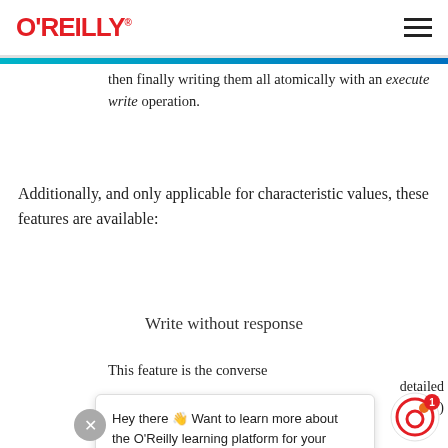O'REILLY
then finally writing them all atomically with an execute write operation.
Additionally, and only applicable for characteristic values, these features are available:
Write without response
This feature is the converse
Hey there 👋 Want to learn more about the O'Reilly learning platform for your team?
uses Write Command packets.